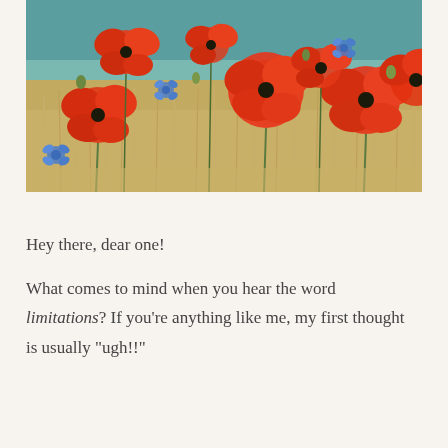[Figure (photo): A field of bright red poppy flowers with some blue cornflowers scattered among golden wheat stalks. The background shows a blurred teal/green sky. The photo has warm, slightly muted tones.]
Hey there, dear one!
What comes to mind when you hear the word limitations? If you're anything like me, my first thought is usually "ugh!!"